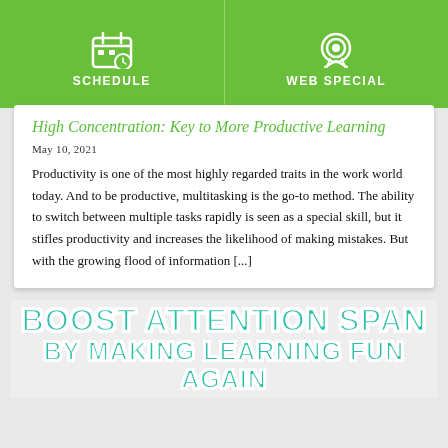SCHEDULE | WEB SPECIAL
High Concentration: Key to More Productive Learning
May 10, 2021
Productivity is one of the most highly regarded traits in the work world today. And to be productive, multitasking is the go-to method. The ability to switch between multiple tasks rapidly is seen as a special skill, but it stifles productivity and increases the likelihood of making mistakes. But with the growing flood of information [...]
[Figure (illustration): Promotional banner reading BOOST ATTENTION SPAN BY MAKING LEARNING FUN AGAIN in large teal bold text with white stroke on a light background]